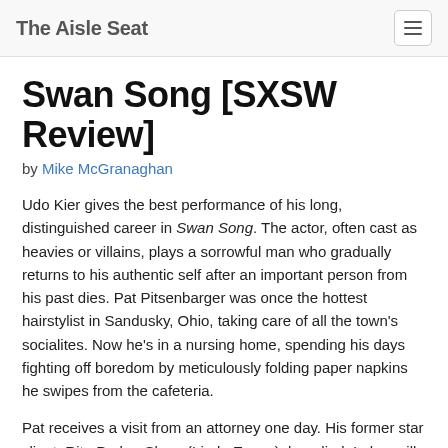The Aisle Seat
Swan Song [SXSW Review]
by Mike McGranaghan
Udo Kier gives the best performance of his long, distinguished career in Swan Song. The actor, often cast as heavies or villains, plays a sorrowful man who gradually returns to his authentic self after an important person from his past dies. Pat Pitsenbarger was once the hottest hairstylist in Sandusky, Ohio, taking care of all the town's socialites. Now he's in a nursing home, spending his days fighting off boredom by meticulously folding paper napkins he swipes from the cafeteria.
Pat receives a visit from an attorney one day. His former star client, Rita Parker Sloan (Linda Evans), has died. In her will, she requested that Pat do her hair for the viewing. Despite a rather large stipend being offered, Pat doesn't want to do it. After all, Rita ended their relationship by abandoning him and taking her